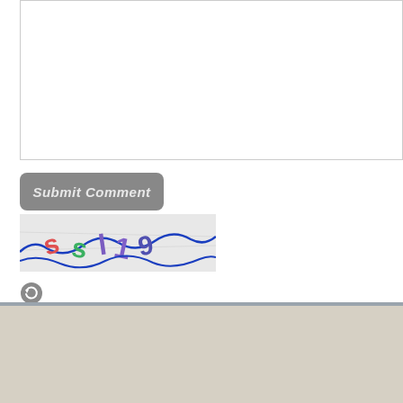[Figure (other): Text area input box, white background with border]
Submit Comment
[Figure (other): CAPTCHA image showing distorted text 'ssl19' with blue wavy lines over light gray background]
[Figure (other): Refresh/reload icon button for CAPTCHA]
CAPTCHA Code *